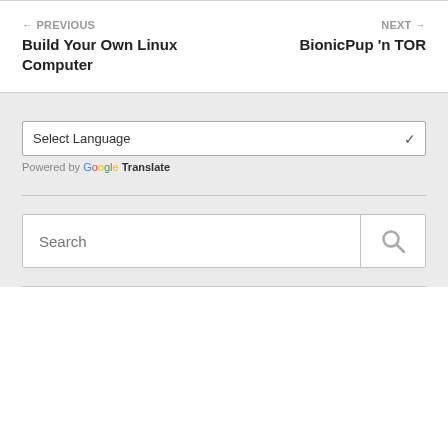← PREVIOUS
Build Your Own Linux Computer
NEXT →
BionicPup 'n TOR
Select Language
Powered by Google Translate
Search